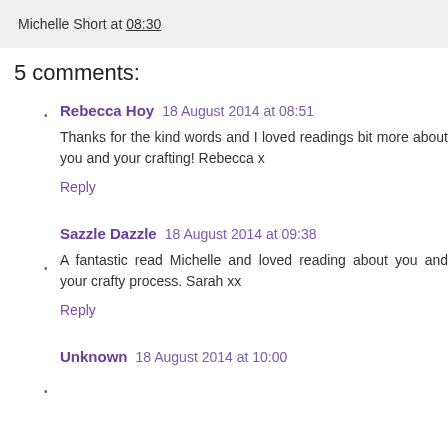Michelle Short at 08:30
5 comments:
Rebecca Hoy  18 August 2014 at 08:51
Thanks for the kind words and I loved readings bit more about you and your crafting! Rebecca x
Reply
Sazzle Dazzle  18 August 2014 at 09:38
A fantastic read Michelle and loved reading about you and your crafty process. Sarah xx
Reply
Unknown  18 August 2014 at 10:00